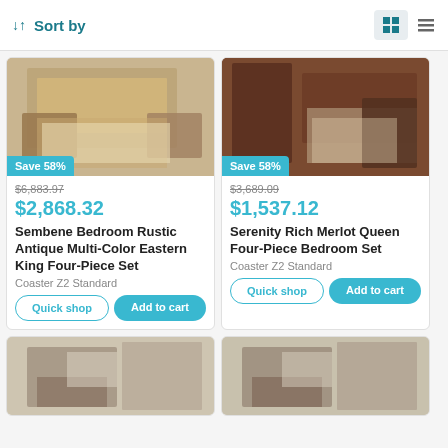↓↑ Sort by
[Figure (photo): Bedroom furniture set with rustic antique multi-color wood headboard, dresser and nightstand]
$6,883.97 (strikethrough) | $2,868.32 | Sembene Bedroom Rustic Antique Multi-Color Eastern King Four-Piece Set | Coaster Z2 Standard
[Figure (photo): Bedroom furniture set with dark merlot wood headboard and dresser]
$3,689.09 (strikethrough) | $1,537.12 | Serenity Rich Merlot Queen Four-Piece Bedroom Set | Coaster Z2 Standard
[Figure (photo): Bedroom furniture partial view with lighter wood tones]
[Figure (photo): Bedroom furniture partial view similar lighter style]